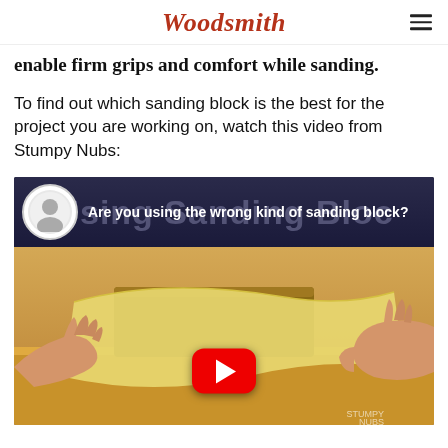Woodsmith
enable firm grips and comfort while sanding.
To find out which sanding block is the best for the project you are working on, watch this video from Stumpy Nubs:
[Figure (screenshot): YouTube video thumbnail showing 'Are you using the wrong kind of sanding block?' from Stumpy Nubs channel. The thumbnail shows hands pressing a piece of sandpaper onto a wooden sanding block on a workbench. A red YouTube play button is visible in the center.]